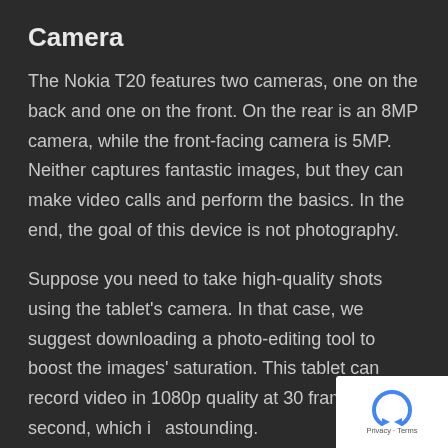Camera
The Nokia T20 features two cameras, one on the back and one on the front. On the rear is an 8MP camera, while the front-facing camera is 5MP. Neither captures fantastic images, but they can make video calls and perform the basics. In the end, the goal of this device is not photography.
Suppose you need to take high-quality shots using the tablet's camera. In that case, we suggest downloading a photo-editing tool to boost the images' saturation. This tablet can record video in 1080p quality at 30 frames per second, which is astounding.
[Figure (logo): Google reCAPTCHA badge with blue recycle-style arrow icon and Privacy - Terms text]